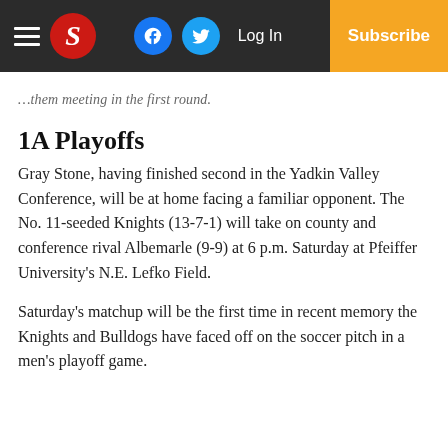≡ S  [facebook] [twitter]  Log In  Subscribe
…them meeting in the first round.
1A Playoffs
Gray Stone, having finished second in the Yadkin Valley Conference, will be at home facing a familiar opponent. The No. 11-seeded Knights (13-7-1) will take on county and conference rival Albemarle (9-9) at 6 p.m. Saturday at Pfeiffer University's N.E. Lefko Field.
Saturday's matchup will be the first time in recent memory the Knights and Bulldogs have faced off on the soccer pitch in a men's playoff game.